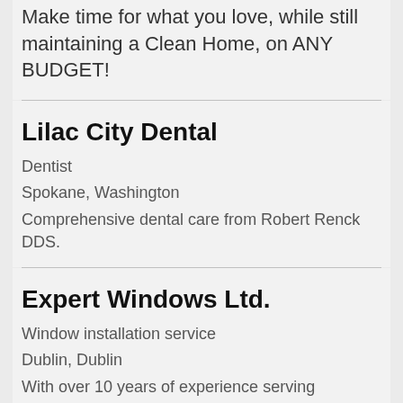Make time for what you love, while still maintaining a Clean Home, on ANY BUDGET!
Lilac City Dental
Dentist
Spokane, Washington
Comprehensive dental care from Robert Renck DDS.
Expert Windows Ltd.
Window installation service
Dublin, Dublin
With over 10 years of experience serving